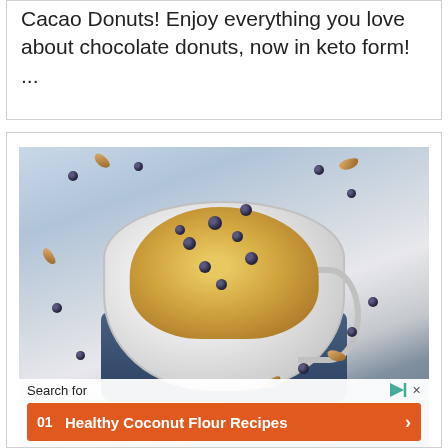Cacao Donuts! Enjoy everything you love about chocolate donuts, now in keto form! ...
[Figure (photo): A mug cake or baked muffin topped with blueberries in a white ceramic cup on a blue base, surrounded by scattered blueberries and almonds on a light background. An advertisement overlay shows 'Search for' with a result for 'Healthy Coconut Flour Recipes'.]